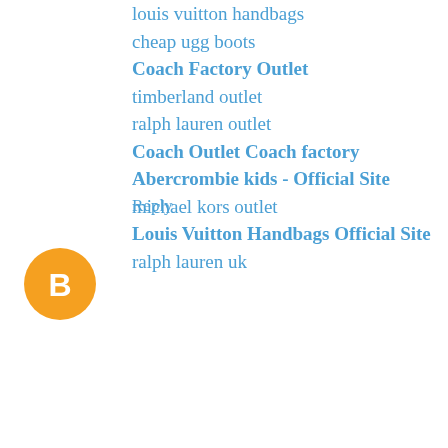louis vuitton handbags
cheap ugg boots
Coach Factory Outlet
timberland outlet
ralph lauren outlet
Coach Outlet Coach factory
Abercrombie kids - Official Site
michael kors outlet
Louis Vuitton Handbags Official Site
ralph lauren uk
Reply
John  December 11, 2015 at 1:57 AM
ugg boots
hollister uk
nike air huarache
ugg clearance
coach factory outlet
nike air max
ugg boots outlet
ed hardy clothing